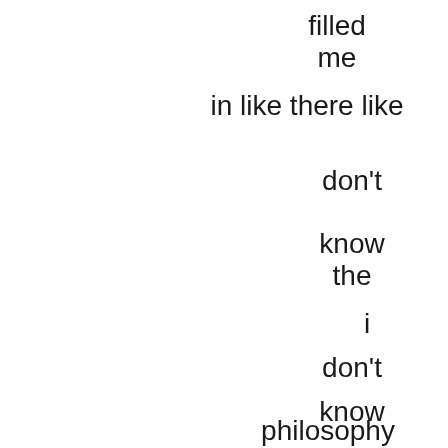filled
me
in like there like
don't
know
the
i
don't
know
philosophy